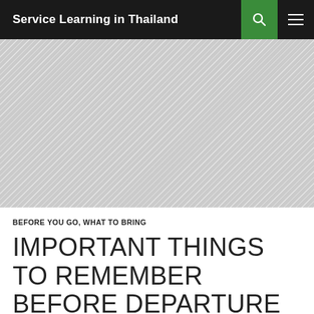Service Learning in Thailand
[Figure (photo): Diagonal hatched placeholder image area representing a hero/banner image]
BEFORE YOU GO, WHAT TO BRING
IMPORTANT THINGS TO REMEMBER BEFORE DEPARTURE – 2019